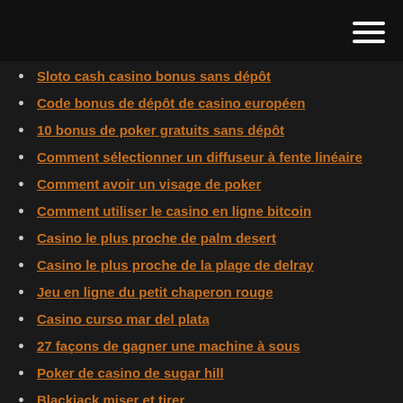Sloto cash casino bonus sans dépôt
Code bonus de dépôt de casino européen
10 bonus de poker gratuits sans dépôt
Comment sélectionner un diffuseur à fente linéaire
Comment avoir un visage de poker
Comment utiliser le casino en ligne bitcoin
Casino le plus proche de palm desert
Casino le plus proche de la plage de delray
Jeu en ligne du petit chaperon rouge
Casino curso mar del plata
27 façons de gagner une machine à sous
Poker de casino de sugar hill
Blackjack miser et tirer
Gagner avec bo com